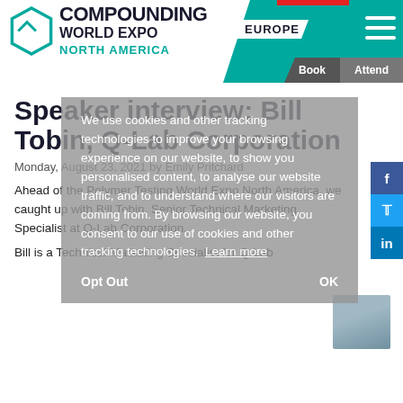[Figure (logo): Compounding World Expo North America logo with teal hexagon icon, with EUROPE nav and hamburger menu, and Book/Attend buttons]
Speaker interview: Bill Tobin, Q-Lab Corporation
Monday, August 23, 2021 by Emily Pritchard
Ahead of the Polymer Testing World Expo North America, we caught up with Bill Tobin, Senior Technical Marketing Specialist at Q-Lab Corporation.
Bill is a Technical Marketing Specialist for Q-Lab
We use cookies and other tracking technologies to improve your browsing experience on our website, to show you personalised content, to analyse our website traffic, and to understand where our visitors are coming from. By browsing our website, you consent to our use of cookies and other tracking technologies.  Learn more
Opt Out    OK